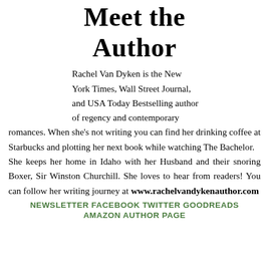Meet the Author
Rachel Van Dyken is the New York Times, Wall Street Journal, and USA Today Bestselling author of regency and contemporary romances. When she's not writing you can find her drinking coffee at Starbucks and plotting her next book while watching The Bachelor. She keeps her home in Idaho with her Husband and their snoring Boxer, Sir Winston Churchill. She loves to hear from readers! You can follow her writing journey at www.rachelvandykenauthor.com
NEWSLETTER FACEBOOK TWITTER GOODREADS
AMAZON AUTHOR PAGE